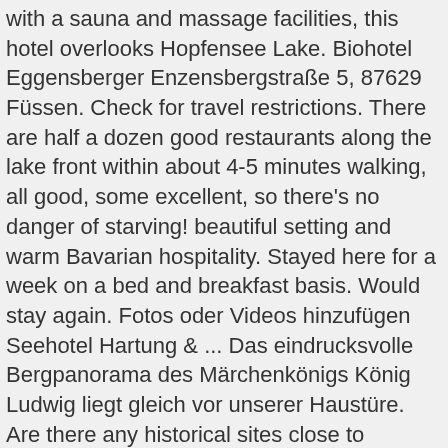with a sauna and massage facilities, this hotel overlooks Hopfensee Lake. Biohotel Eggensberger Enzensbergstraße 5, 87629 Füssen. Check for travel restrictions. There are half a dozen good restaurants along the lake front within about 4-5 minutes walking, all good, some excellent, so there's no danger of starving! beautiful setting and warm Bavarian hospitality. Stayed here for a week on a bed and breakfast basis. Would stay again. Fotos oder Videos hinzufügen Seehotel Hartung & ... Das eindrucksvolle Bergpanorama des Märchenkönigs König Ludwig liegt gleich vor unserer Haustüre. Are there any historical sites close to Seehotel Hartung & Ferienappartements? When is the best time to visit your property for the perfect beach holiday? Google disclaims all warranties related to the translations, express or implied, including any warranties of accuracy, reliability, and any implied warranties of merchantability, fitness for a particular purpose, and non-infringement. The place also offers a wellness area that looked really nice. Skipass in bis zu 2.200 Unterkünften & 500 Orten! Das